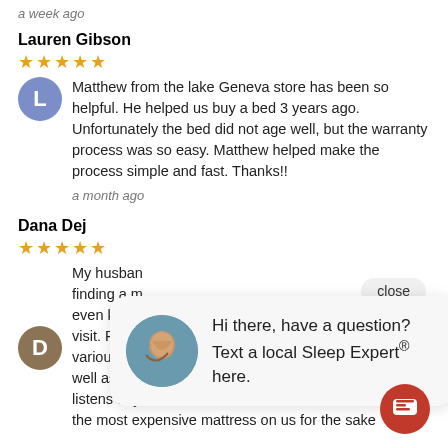a week ago
Lauren Gibson
★★★★★
Matthew from the lake Geneva store has been so helpful. He helped us buy a bed 3 years ago. Unfortunately the bed did not age well, but the warranty process was so easy. Matthew helped make the process simple and fast. Thanks!!
a month ago
close
Dana Dej
★★★★★
My husban... finding a m... even know... visit. Peter assisted us in showing us and explaining various different mattress brands, firmness options, as well as upgrade options. He is very knowledgeable and listens to your wants and concerns, never tried to push the most expensive mattress on us for the sake
[Figure (photo): Chat popup with female assistant avatar and text: Hi there, have a question? Text a local Sleep Expert® here.]
[Figure (other): Red circular chat button with message icon]